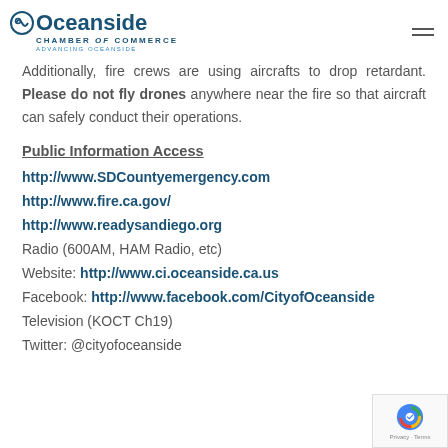Oceanside Chamber of Commerce - Advancing Oceanside
Additionally, fire crews are using aircrafts to drop retardant. Please do not fly drones anywhere near the fire so that aircraft can safely conduct their operations.
Public Information Access
http://www.SDCountyemergency.com
http://www.fire.ca.gov/
http://www.readysandiego.org
Radio (600AM, HAM Radio, etc)
Website: http://www.ci.oceanside.ca.us
Facebook: http://www.facebook.com/CityofOceanside
Television (KOCT Ch19)
Twitter: @cityofoceanside